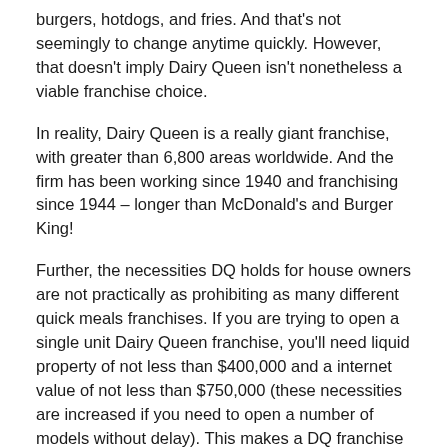burgers, hotdogs, and fries. And that's not seemingly to change anytime quickly. However, that doesn't imply Dairy Queen isn't nonetheless a viable franchise choice.
In reality, Dairy Queen is a really giant franchise, with greater than 6,800 areas worldwide. And the firm has been working since 1940 and franchising since 1944 – longer than McDonald's and Burger King!
Further, the necessities DQ holds for house owners are not practically as prohibiting as many different quick meals franchises. If you are trying to open a single unit Dairy Queen franchise, you'll need liquid property of not less than $400,000 and a internet value of not less than $750,000 (these necessities are increased if you need to open a number of models without delay). This makes a DQ franchise pretty accessible compared to its friends – one thing that may actually make it an interesting alternative for